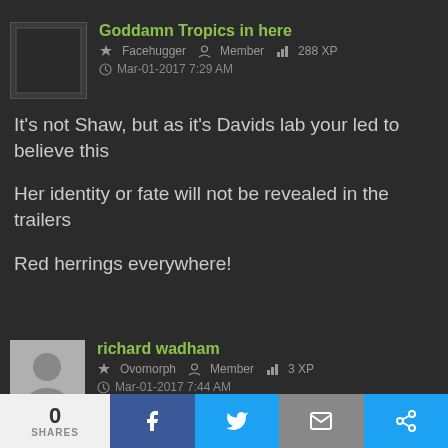Goddamn Tropics in here
Facehugger  Member  288 XP
Mar-01-2017 7:29 AM
It's not Shaw, but as it's Davids lab your led to believe this
Her identity or fate will not be revealed in the trailers
Red herrings everywhere!
richard wadham
Ovomorph  Member  3 XP
Mar-01-2017 7:44 AM
I think it possibly could be Billy Crudup.. acourse
0 SHARES